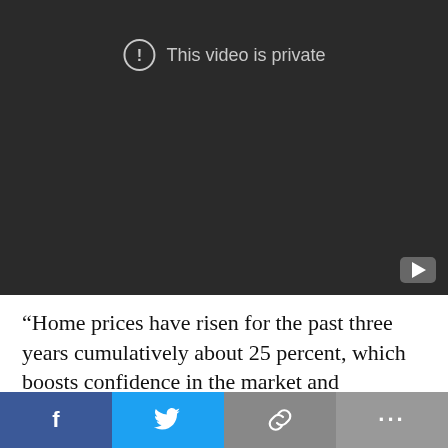[Figure (screenshot): Dark video player showing 'This video is private' message with a circle exclamation icon and YouTube logo in the bottom right corner]
“Home prices have risen for the past three years cumulatively about 25 percent, which boosts confidence in the market and traditionally gives current homeowners the ability to use their equity buildup as a [down payment on a new house,”]